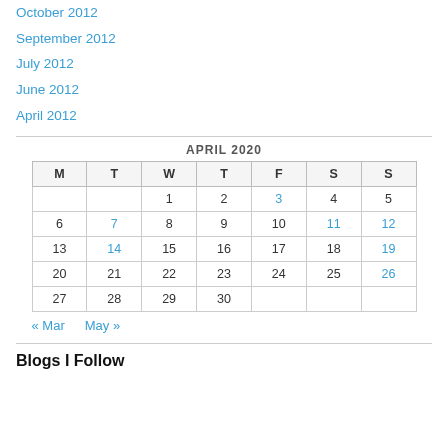October 2012
September 2012
July 2012
June 2012
April 2012
| M | T | W | T | F | S | S |
| --- | --- | --- | --- | --- | --- | --- |
|  |  | 1 | 2 | 3 | 4 | 5 |
| 6 | 7 | 8 | 9 | 10 | 11 | 12 |
| 13 | 14 | 15 | 16 | 17 | 18 | 19 |
| 20 | 21 | 22 | 23 | 24 | 25 | 26 |
| 27 | 28 | 29 | 30 |  |  |  |
Blogs I Follow